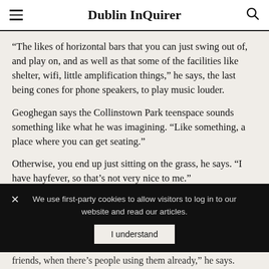Dublin InQuirer
“The likes of horizontal bars that you can just swing out of, and play on, and as well as that some of the facilities like shelter, wifi, little amplification things,” he says, the last being cones for phone speakers, to play music louder.
Geoghegan says the Collinstown Park teenspace sounds something like what he was imagining. “Like something, a place where you can get seating.”
Otherwise, you end up just sitting on the grass, he says. “I have hayfever, so that’s not very nice to me.”
If there was too much gym or sports equipment though,
friends, when there’s people using them already,” he says.